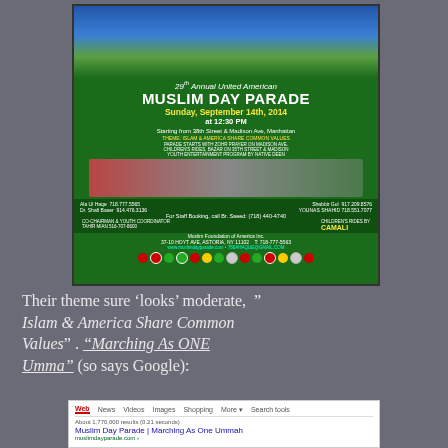[Figure (infographic): Flyer for the 29th Annual United American Muslim Day Parade, Sunday September 14th 2014 at 12:30 PM, starting from 38th Street & Madison Ave, Manhattan. Green background with flags, contact info, and photos.]
Their theme sure ‘looks’ moderate, ” Islam & America Share Common Values” . “Marching As ONE Umma” (so says Google):
[Figure (screenshot): Google search results screenshot showing search for Muslim Day Parade with result title 'Muslim Day Parade | Marching As One Ummah', about 1,770,000 results in 0.21 seconds.]